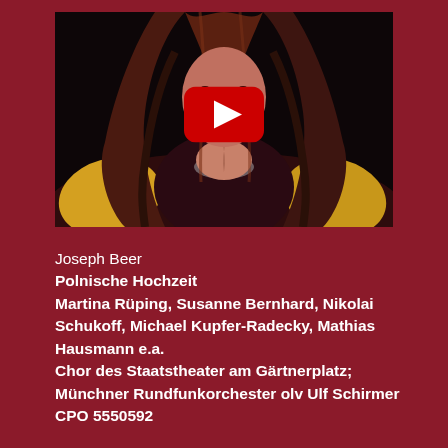[Figure (screenshot): YouTube video thumbnail showing a woman with long dark reddish-brown hair wearing a yellow costume with a necklace, against a dark background. A YouTube play button (red rectangle with white triangle) is overlaid in the center.]
Joseph Beer
Polnische Hochzeit
Martina Rüping, Susanne Bernhard, Nikolai Schukoff, Michael Kupfer-Radecky, Mathias Hausmann e.a.
Chor des Staatstheater am Gärtnerplatz; Münchner Rundfunkorchester olv Ulf Schirmer
CPO 5550592